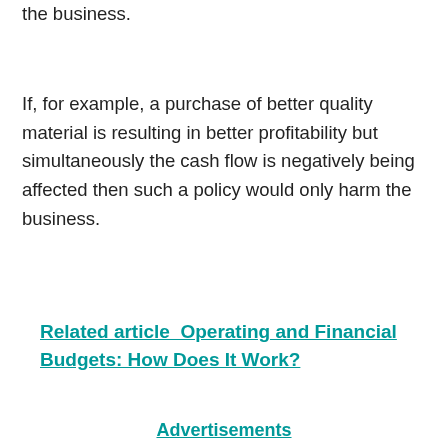the business.
If, for example, a purchase of better quality material is resulting in better profitability but simultaneously the cash flow is negatively being affected then such a policy would only harm the business.
Related article  Operating and Financial Budgets: How Does It Work?
Advertisements